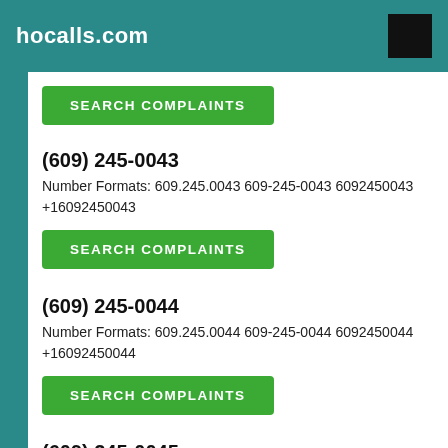hocalls.com
SEARCH COMPLAINTS
(609) 245-0043
Number Formats: 609.245.0043 609-245-0043 6092450043 +16092450043
SEARCH COMPLAINTS
(609) 245-0044
Number Formats: 609.245.0044 609-245-0044 6092450044 +16092450044
SEARCH COMPLAINTS
(609) 245-0045
Number Formats: 609.245.0045 609-245-0045 6092450045 +16092450045